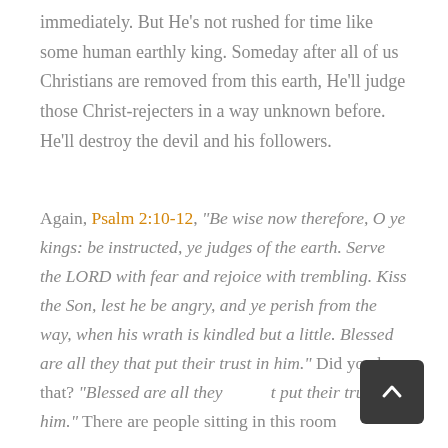immediately. But He's not rushed for time like some human earthly king. Someday after all of us Christians are removed from this earth, He'll judge those Christ-rejecters in a way unknown before. He'll destroy the devil and his followers.
Again, Psalm 2:10-12, "Be wise now therefore, O ye kings: be instructed, ye judges of the earth. Serve the LORD with fear and rejoice with trembling. Kiss the Son, lest he be angry, and ye perish from the way, when his wrath is kindled but a little. Blessed are all they that put their trust in him." Did you hear that? "Blessed are all they that put their trust in him." There are people sitting in this room